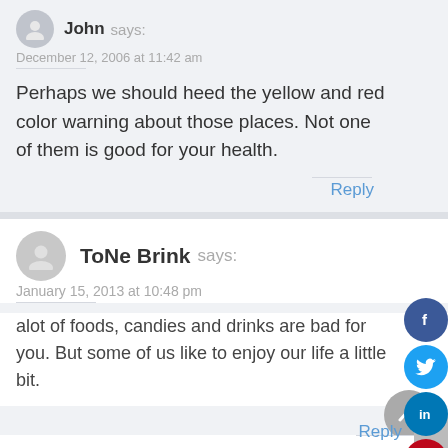John says:
December 12, 2006 at 11:42 am
Perhaps we should heed the yellow and red color warning about those places. Not one of them is good for your health.
Reply
ToNe Brink says:
January 15, 2013 at 10:48 pm
alot of foods, candies and drinks are bad for you. But some of us like to enjoy our life a little bit.
Reply